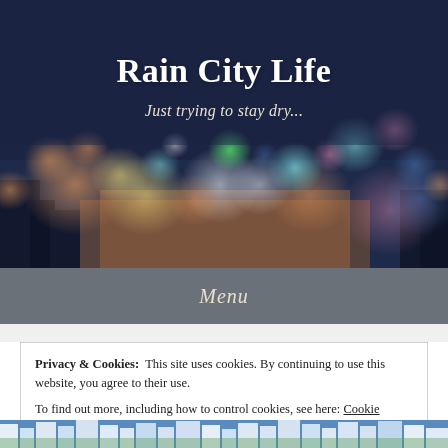[Figure (photo): Blurred bokeh city lights at night — dark blue and purple tones with colorful out-of-focus light orbs in green, teal, orange, pink, and white.]
Rain City Life
Just trying to stay dry...
Menu
Privacy & Cookies:  This site uses cookies. By continuing to use this website, you agree to their use.
To find out more, including how to control cookies, see here: Cookie Policy
Close and accept
[Figure (photo): Partial view of city buildings at bottom of page.]